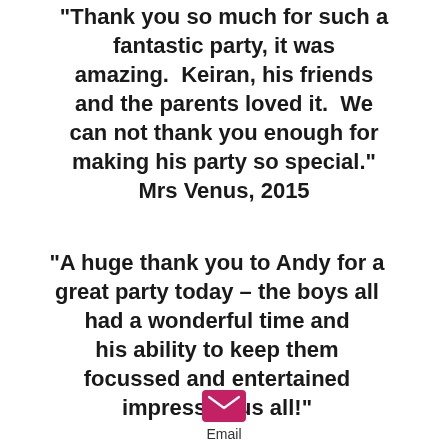"Thank you so much for such a fantastic party, it was amazing.  Keiran, his friends and the parents loved it.  We can not thank you enough for making his party so special." Mrs Venus, 2015
"A huge thank you to Andy for a great party today – the boys all had a wonderful time and his ability to keep them focussed and entertained impressed us all!"
[Figure (other): A circular scroll-to-top button with an upward chevron arrow, outlined circle, white background]
[Figure (other): Pink/magenta envelope icon representing email contact]
Email